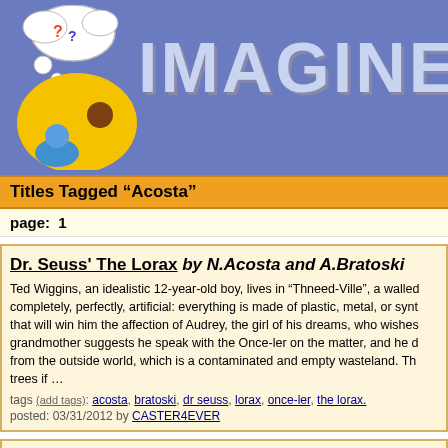IMAGINE CA
Titles Tagged “Acosta”
page:  1
Dr. Seuss' The Lorax by N.Acosta and A.Bratoski
Ted Wiggins, an idealistic 12-year-old boy, lives in “Thneed-Ville”, a walled completely, perfectly, artificial: everything is made of plastic, metal, or synt that will win him the affection of Audrey, the girl of his dreams, who wishes grandmother suggests he speak with the Once-ler on the matter, and he d from the outside world, which is a contaminated and empty wasteland. Th trees if …
tags (add tags): acosta, bratoski, dr seuss, lorax, once-ler, the lorax.
posted: 03/31/2012 by CASTER4EVER
Toy Story 3 by Nicolas Acosta and Axel B.
Eleven years after the facts in TS2,Andy, who is going to university,sends